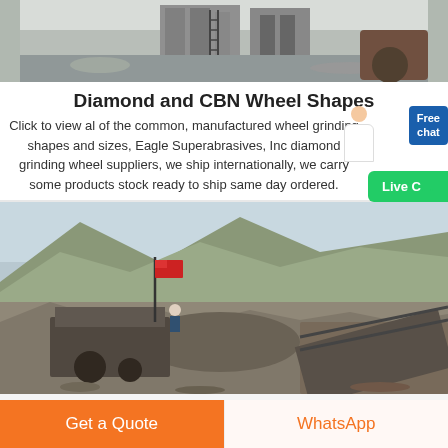[Figure (photo): Construction/mining site showing concrete structures, machinery, and rocky terrain with a ladder visible]
Diamond and CBN Wheel Shapes
Click to view al of the common, manufactured wheel grinding shapes and sizes, Eagle Superabrasives, Inc diamond grinding wheel suppliers, we ship internationally, we carry some products stock ready to ship same day ordered.
[Figure (photo): Open-pit mining quarry with machinery, conveyor belt, red flag, hills and sky in background]
Get a Quote
WhatsApp